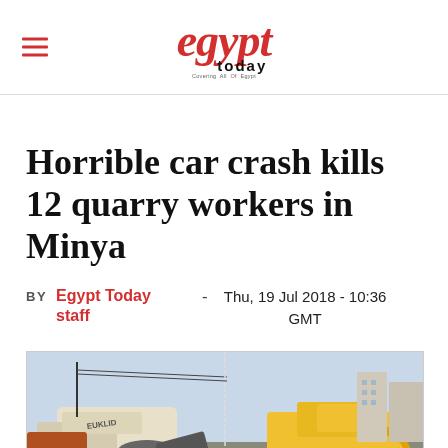egypt today
Horrible car crash kills 12 quarry workers in Minya
BY Egypt Today staff - Thu, 19 Jul 2018 - 10:36 GMT
[Figure (photo): Crash scene showing heavy construction/emergency vehicles including a Hyundai excavator and overturned truck amid debris on a road, with buildings visible in the background.]